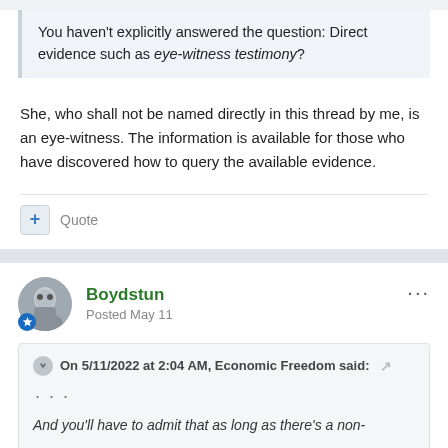You haven't explicitly answered the question: Direct evidence such as eye-witness testimony?
She, who shall not be named directly in this thread by me, is an eye-witness. The information is available for those who have discovered how to query the available evidence.
+ Quote
Boydstun
Posted May 11
On 5/11/2022 at 2:04 AM, Economic Freedom said:
...
And you'll have to admit that as long as there's a non-